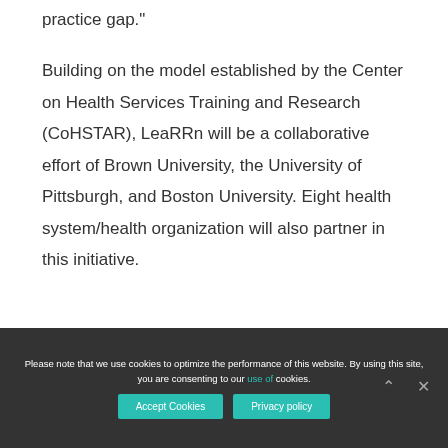practice gap."
Building on the model established by the Center on Health Services Training and Research (CoHSTAR), LeaRRn will be a collaborative effort of Brown University, the University of Pittsburgh, and Boston University. Eight health system/health organization will also partner in this initiative.
Please note that we use cookies to optimize the performance of this website. By using this site, you are consenting to our use of cookies.
Accept Cookies
Privacy policy